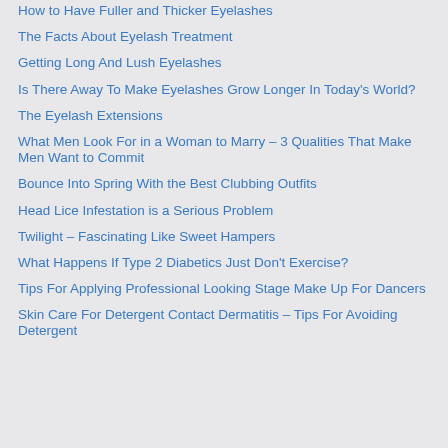How to Have Fuller and Thicker Eyelashes
The Facts About Eyelash Treatment
Getting Long And Lush Eyelashes
Is There Away To Make Eyelashes Grow Longer In Today's World?
The Eyelash Extensions
What Men Look For in a Woman to Marry – 3 Qualities That Make Men Want to Commit
Bounce Into Spring With the Best Clubbing Outfits
Head Lice Infestation is a Serious Problem
Twilight – Fascinating Like Sweet Hampers
What Happens If Type 2 Diabetics Just Don't Exercise?
Tips For Applying Professional Looking Stage Make Up For Dancers
Skin Care For Detergent Contact Dermatitis – Tips For Avoiding Detergent